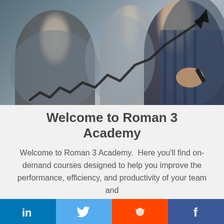[Figure (photo): Business professionals in a blurred office background; a hand draws an upward arrow on glass, symbolizing growth]
Welcome to Roman 3 Academy
Welcome to Roman 3 Academy.  Here you'll find on-demand courses designed to help you improve the performance, efficiency, and productivity of your team and
[Figure (infographic): Social media share bar with LinkedIn, Twitter, Reddit, and Facebook buttons]